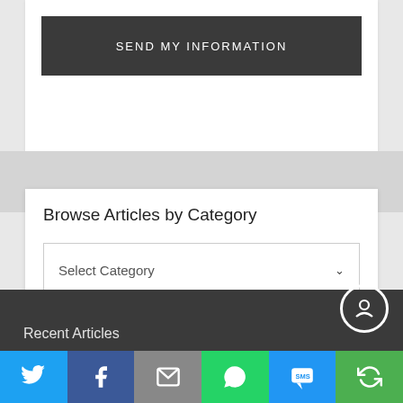[Figure (screenshot): Dark gray button labeled SEND MY INFORMATION on a white card background]
Browse Articles by Category
[Figure (screenshot): Dropdown select box labeled Select Category with a chevron arrow on the right]
Recent Articles
[Figure (infographic): Social sharing bar with six buttons: Twitter (blue bird), Facebook (blue f), Email (gray envelope), WhatsApp (green phone), SMS (blue SMS bubble), Share (green circular arrows)]